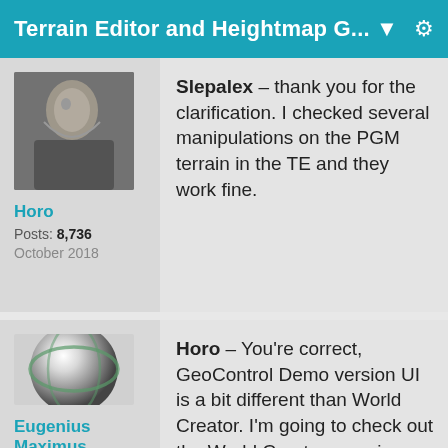Terrain Editor and Heightmap G... ▼
Slepalex – thank you for the clarification. I checked several manipulations on the PGM terrain in the TE and they work fine.
Horo
Posts: 8,736
October 2018
Horo – You're correct, GeoControl Demo version UI is a bit different than World Creator. I'm going to check out the World Creator overviews on Steam to get a better sense on how the software works. I do recall
Eugenius Maximus
Posts: 156
October 2018